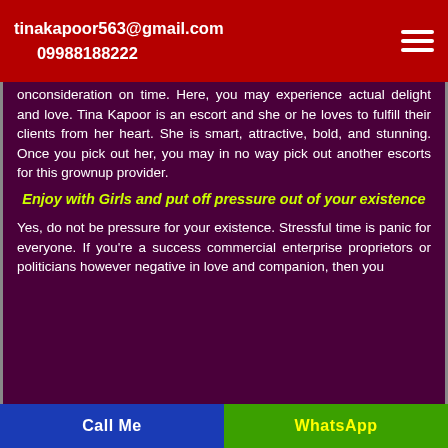tinakapoor563@gmail.com
09988188222
onconsideration on time. Here, you may experience actual delight and love. Tina Kapoor is an escort and she or he loves to fulfill their clients from her heart. She is smart, attractive, bold, and stunning. Once you pick out her, you may in no way pick out another escorts for this grownup provider.
Enjoy with Girls and put off pressure out of your existence
Yes, do not be pressure for your existence. Stressful time is panic for everyone. If you're a success commercial enterprise proprietors or politicians however negative in love and companion, then you
Call Me    WhatsApp